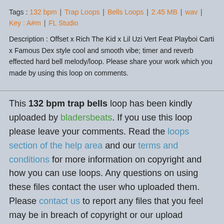Tags : 132 bpm | Trap Loops | Bells Loops | 2.45 MB | wav | Key : A#m | FL Studio
Description : Offset x Rich The Kid x Lil Uzi Vert Feat Playboi Carti x Famous Dex style cool and smooth vibe; timer and reverb effected hard bell melody/loop. Please share your work which you made by using this loop on comments.
This 132 bpm trap bells loop has been kindly uploaded by bladersbeats. If you use this loop please leave your comments. Read the loops section of the help area and our terms and conditions for more information on copyright and how you can use loops. Any questions on using these files contact the user who uploaded them. Please contact us to report any files that you feel may be in breach of copyright or our upload guidelines.
Comments (0)